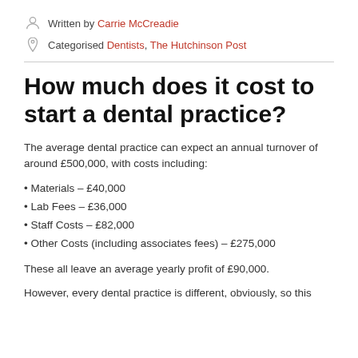Written by Carrie McCreadie
Categorised Dentists, The Hutchinson Post
How much does it cost to start a dental practice?
The average dental practice can expect an annual turnover of around £500,000, with costs including:
• Materials – £40,000
• Lab Fees – £36,000
• Staff Costs – £82,000
• Other Costs (including associates fees) – £275,000
These all leave an average yearly profit of £90,000.
However, every dental practice is different, obviously, so this